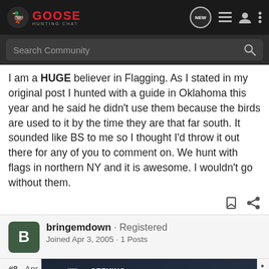GOOSE HUNTING CHAT
Search Community
I am a HUGE believer in Flagging. As I stated in my original post I hunted with a guide in Oklahoma this year and he said he didn't use them because the birds are used to it by the time they are that far south. It sounded like BS to me so I thought I'd throw it out there for any of you to comment on. We hunt with flags in northern NY and it is awesome. I wouldn't go without them.
bringemdown · Registered
Joined Apr 3, 2005 · 1 Posts
#8 · Apr
[Figure (screenshot): Advertisement banner: SEEKING LONG RANGE RELATIONSHIP - KEL-TEC CP33 Pistol, with pistol image on dark background]